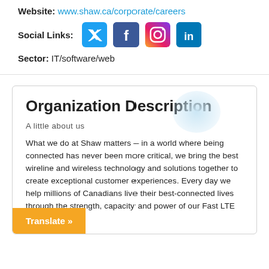Website: www.shaw.ca/corporate/careers
Social Links: [Twitter] [Facebook] [Instagram] [LinkedIn]
Sector: IT/software/web
Organization Description
A little about us
What we do at Shaw matters – in a world where being connected has never been more critical, we bring the best wireline and wireless technology and solutions together to create exceptional customer experiences. Every day we help millions of Canadians live their best-connected lives through the strength, capacity and power of our Fast LTE and [networks]